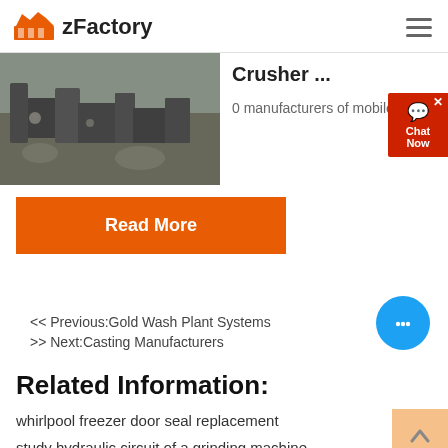zFactory
[Figure (photo): Industrial crusher machine working at a quarry/mining site with rocks and machinery visible]
Crusher ...
0 manufacturers of mobile cr...
Read More
<< Previous:Gold Wash Plant Systems
>> Next:Casting Manufacturers
Related Information:
whirlpool freezer door seal replacement
study hydraulic circuit of a grinding machine